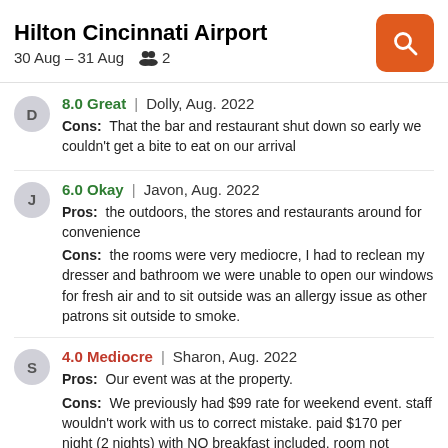Hilton Cincinnati Airport
30 Aug – 31 Aug  👥 2
8.0 Great | Dolly, Aug. 2022
Cons: That the bar and restaurant shut down so early we couldn't get a bite to eat on our arrival
6.0 Okay | Javon, Aug. 2022
Pros: the outdoors, the stores and restaurants around for convenience
Cons: the rooms were very mediocre, I had to reclean my dresser and bathroom we were unable to open our windows for fresh air and to sit outside was an allergy issue as other patrons sit outside to smoke.
4.0 Mediocre | Sharon, Aug. 2022
Pros: Our event was at the property.
Cons: We previously had $99 rate for weekend event. staff wouldn't work with us to correct mistake. paid $170 per night (2 nights) with NO breakfast included. room not cleaned so we had overflowing trash.